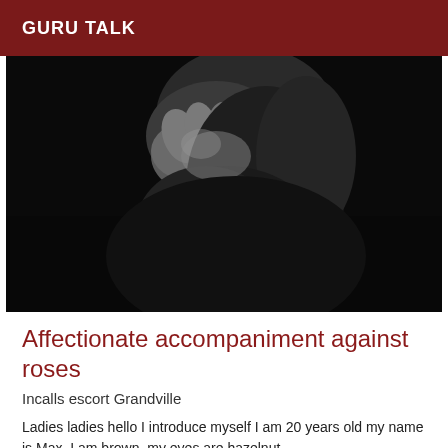GURU TALK
[Figure (photo): Black and white close-up photograph of a person's hands and torso against a dark background]
Affectionate accompaniment against roses
Incalls escort Grandville
Ladies ladies hello I introduce myself I am 20 years old my name is Max, I am brown, my eyes are hazelnut,